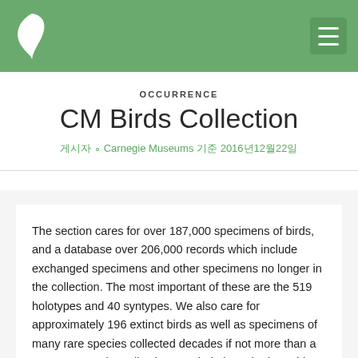CM Birds Collection — OCCURRENCE
OCCURRENCE
CM Birds Collection
게시자 ∘ Carnegie Museums 기준 2016년12월22일
The section cares for over 187,000 specimens of birds, and a database over 206,000 records which include exchanged specimens and other specimens no longer in the collection. The most important of these are the 519 holotypes and 40 syntypes. We also care for approximately 196 extinct birds as well as specimens of many rare species collected decades if not more than a century ago. The collection on whole is ranked roughly ninth in the United States. The Carnegie Collection has